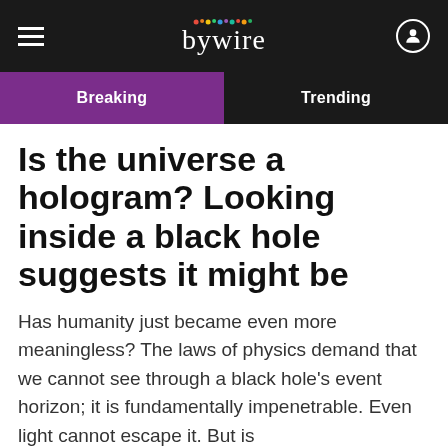bywire
Breaking
Trending
Is the universe a hologram? Looking inside a black hole suggests it might be
Has humanity just became even more meaningless? The laws of physics demand that we cannot see through a black hole's event horizon; it is fundamentally impenetrable. Even light cannot escape it. But is...